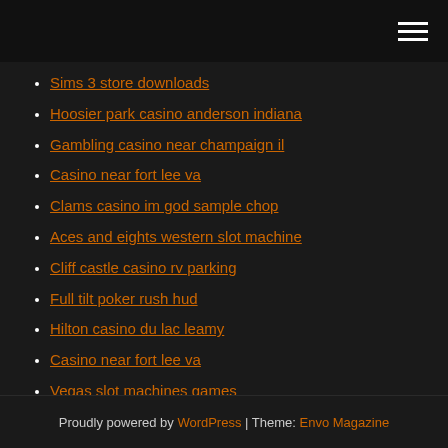[hamburger menu icon]
Sims 3 store downloads
Hoosier park casino anderson indiana
Gambling casino near champaign il
Casino near fort lee va
Clams casino im god sample chop
Aces and eights western slot machine
Cliff castle casino rv parking
Full tilt poker rush hud
Hilton casino du lac leamy
Casino near fort lee va
Vegas slot machines games
Proudly powered by WordPress | Theme: Envo Magazine